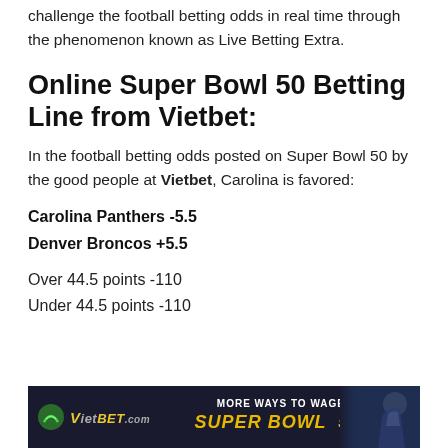challenge the football betting odds in real time through the phenomenon known as Live Betting Extra.
Online Super Bowl 50 Betting Line from Vietbet:
In the football betting odds posted on Super Bowl 50 by the good people at Vietbet, Carolina is favored:
Carolina Panthers -5.5
Denver Broncos +5.5
Over 44.5 points -110
Under 44.5 points -110
[Figure (infographic): Vietbet Super Bowl 50 banner advertisement with dark background, logo on left, 'MORE WAYS TO WAGER SUPER BOWL 50' text in center, and football player silhouette on right]